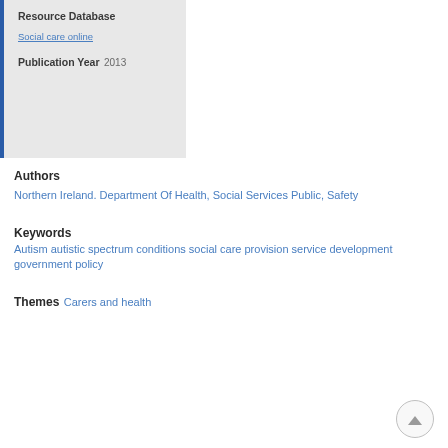Resource Database
Social care online
Publication Year
2013
Authors
Northern Ireland. Department Of Health, Social Services Public, Safety
Keywords
Autism autistic spectrum conditions social care provision service development government policy
Themes
Carers and health